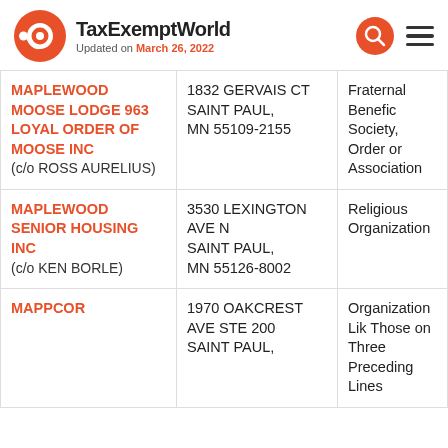TaxExemptWorld - Updated on March 26, 2022
| Name | Address | Type |
| --- | --- | --- |
| MAPLEWOOD MOOSE LODGE 963 LOYAL ORDER OF MOOSE INC (c/o ROSS AURELIUS) | 1832 GERVAIS CT SAINT PAUL, MN 55109-2155 | Fraternal Benefic Society, Order or Association |
| MAPLEWOOD SENIOR HOUSING INC (c/o KEN BORLE) | 3530 LEXINGTON AVE N SAINT PAUL, MN 55126-8002 | Religious Organization |
| MAPPCOR | 1970 OAKCREST AVE STE 200 SAINT PAUL, | Organization Lik Those on Three Preceding Lines |